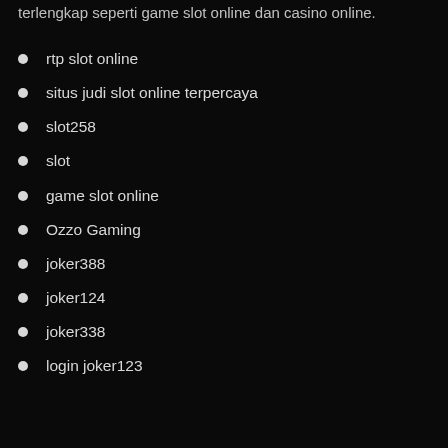terlengkap seperti game slot online dan casino online.
rtp slot online
situs judi slot online terpercaya
slot258
slot
game slot online
Ozzo Gaming
joker388
joker124
joker338
login joker123